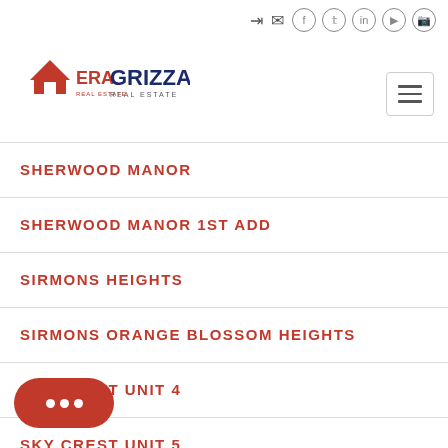ERA Grizzard Real Estate — navigation header with social icons and hamburger menu
SHERWOOD MANOR
SHERWOOD MANOR 1ST ADD
SIRMONS HEIGHTS
SIRMONS ORANGE BLOSSOM HEIGHTS
SKY CREST UNIT 4
SKY CREST UNIT 5
SKY CREST UNIT 7
SKY CREST UNIT 9